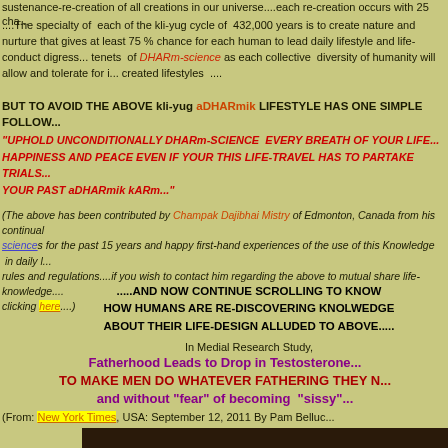sustenance-re-creation of all creations in our universe....each re-creation occurs with 25 cha...
....The specialty of each of the kli-yug cycle of 432,000 years is to create nature and nurture that gives at least 75 % chance for each human to lead daily lifestyle and life-conduct digress... tenets of DHARm-science as each collective diversity of humanity will allow and tolerate for i... created lifestyles ....
BUT TO AVOID THE ABOVE kli-yug aDHARmik LIFESTYLE HAS ONE SIMPLE FOLLOW...
"UPHOLD UNCONDITIONALLY DHARm-SCIENCE EVERY BREATH OF YOUR LIFE... HAPPINESS AND PEACE EVEN IF YOUR THIS LIFE-TRAVEL HAS TO PARTAKE TRIALS... YOUR PAST aDHARmik kARm..."
(The above has been contributed by Champak Dajibhai Mistry of Edmonton, Canada from his continual sciences for the past 15 years and happy first-hand experiences of the use of this Knowledge in daily l... rules and regulations....if you wish to contact him regarding the above to mutual share life-knowledge.... clicking here....)
.....AND NOW CONTINUE SCROLLING TO KNOW HOW HUMANS ARE RE-DISCOVERING KNOLWEDGE ABOUT THEIR LIFE-DESIGN ALLUDED TO ABOVE.....
In Medial Research Study,
Fatherhood Leads to Drop in Testosterone TO MAKE MEN DO WHATEVER FATHERING THEY N... and without "fear" of becoming "sissy"
(From: New York Times, USA: September 12, 2011 By Pam Belluc...
[Figure (photo): A dark indoor/outdoor photo, appears to show a person or figure near a window with trees visible outside]